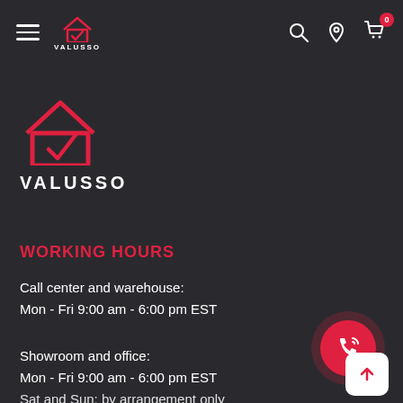VALUSSO navigation bar with hamburger menu, logo, search, location, and cart icons
[Figure (logo): Valusso logo: red house outline with checkmark, white text VALUSSO below]
WORKING HOURS
Call center and warehouse:
Mon - Fri 9:00 am - 6:00 pm EST
Showroom and office:
Mon - Fri 9:00 am - 6:00 pm EST
Sat and Sun: by arrangement only